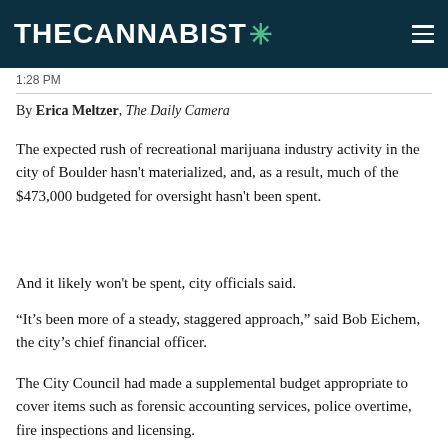THE CANNABIST ✳
1:28 PM
By Erica Meltzer, The Daily Camera
The expected rush of recreational marijuana industry activity in the city of Boulder hasn't materialized, and, as a result, much of the $473,000 budgeted for oversight hasn't been spent.
And it likely won't be spent, city officials said.
“It's been more of a steady, staggered approach,” said Bob Eichem, the city's chief financial officer.
The City Council had made a supplemental budget appropriate to cover items such as forensic accounting services, police overtime, fire inspections and licensing.